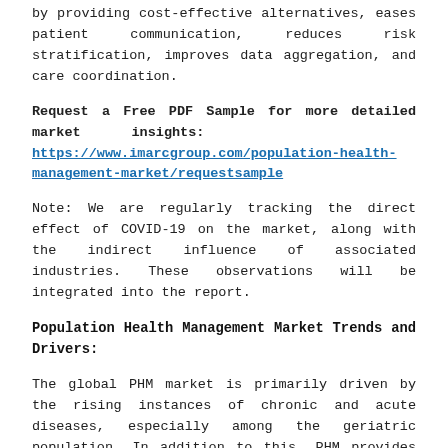by providing cost-effective alternatives, eases patient communication, reduces risk stratification, improves data aggregation, and care coordination.
Request a Free PDF Sample for more detailed market insights: https://www.imarcgroup.com/population-health-management-market/requestsample
Note: We are regularly tracking the direct effect of COVID-19 on the market, along with the indirect influence of associated industries. These observations will be integrated into the report.
Population Health Management Market Trends and Drivers:
The global PHM market is primarily driven by the rising instances of chronic and acute diseases, especially among the geriatric population. In addition to this, PHM provides real-time access as well as medical information to both patients and healthcare providers, thus fueling the market